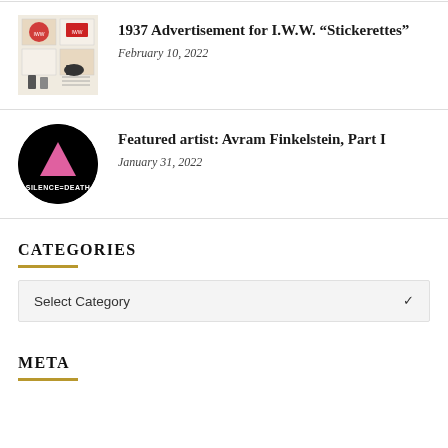[Figure (illustration): IWW Stickerettes advertisement image showing small illustrated stickers on cream background]
1937 Advertisement for I.W.W. “Stickerettes”
February 10, 2022
[Figure (illustration): Silence=Death logo: pink triangle on black circular background with white text SILENCE=DEATH]
Featured artist: Avram Finkelstein, Part I
January 31, 2022
CATEGORIES
Select Category
META